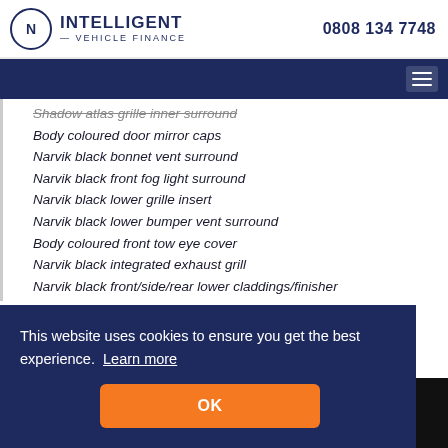INTELLIGENT — VEHICLE FINANCE | 0808 134 7748
Shadow atlas grille inner surround
Body coloured door mirror caps
Narvik black bonnet vent surround
Narvik black front fog light surround
Narvik black lower grille insert
Narvik black lower bumper vent surround
Body coloured front tow eye cover
Narvik black integrated exhaust grill
Narvik black front/side/rear lower claddings/finisher
This website uses cookies to ensure you get the best experience. Learn more
OK